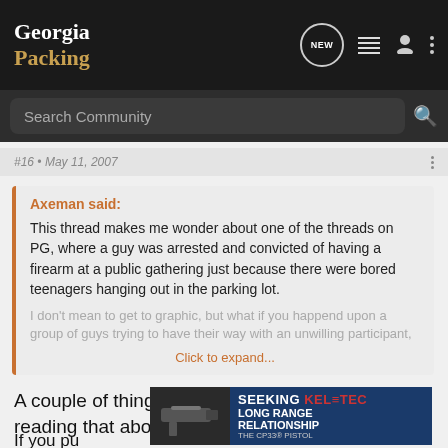Georgia Packing
#16 · May 11, 2007
Axeman said:
This thread makes me wonder about one of the threads on PG, where a guy was arrested and convicted of having a firearm at a public gathering just because there were bored teenagers hanging out in the parking lot.

I don't mean to get to graphic, but what if you happend upon a group of guys trying to have their way with an unwilling participant,
Click to expand...
A couple of things crossed my mind as I was reading that above...
[Figure (infographic): Kel-Tec CP33 pistol advertisement: SEEKING LONG RANGE RELATIONSHIP]
If you pu...
...the h...